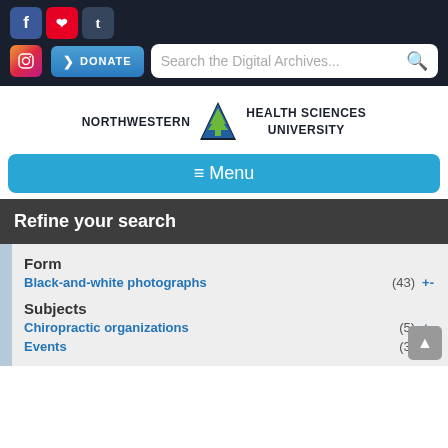[Figure (screenshot): Social media icons: Facebook, Pinterest, Tumblr, Instagram]
[Figure (illustration): Donate button with arrow icon]
Search the Digital Archives...
[Figure (logo): Northwestern Health Sciences University logo with tree emblem]
≡ Menu
Refine your search
Form
Black-and-white photographs (43) +-
Subjects
Chiropractic organizations (5) +-
Events (3) +-